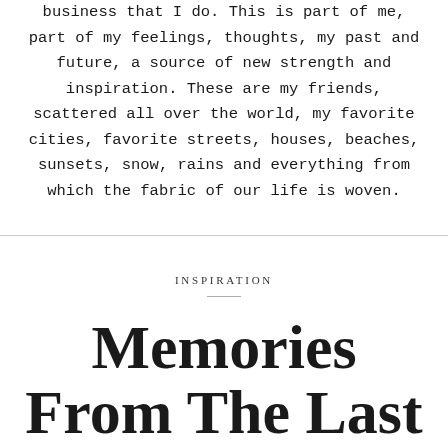business that I do. This is part of me, part of my feelings, thoughts, my past and future, a source of new strength and inspiration. These are my friends, scattered all over the world, my favorite cities, favorite streets, houses, beaches, sunsets, snow, rains and everything from which the fabric of our life is woven.
INSPIRATION
Memories From The Last Summer